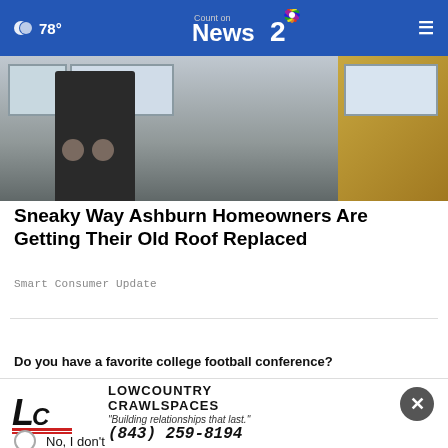78° Count on News 2
[Figure (photo): Person on roof or climbing, photographed from below, with building windows and autumn foliage visible in background]
Sneaky Way Ashburn Homeowners Are Getting Their Old Roof Replaced
Smart Consumer Update
WHAT DO YOU THINK?
Do you have a favorite college football conference?
Yes, I do
S...
No, I don't
[Figure (logo): Lowcountry Crawlspaces logo with tagline 'Building relationships that last.' and phone number (843) 259-8194]